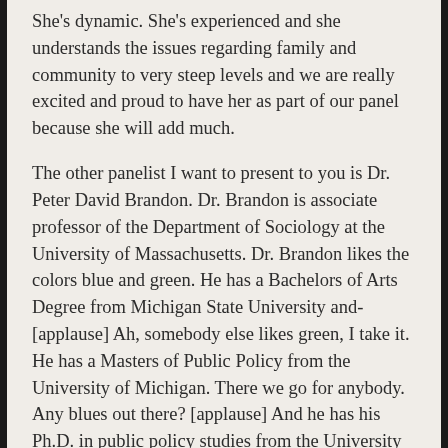She's dynamic. She's experienced and she understands the issues regarding family and community to very steep levels and we are really excited and proud to have her as part of our panel because she will add much.
The other panelist I want to present to you is Dr. Peter David Brandon. Dr. Brandon is associate professor of the Department of Sociology at the University of Massachusetts. Dr. Brandon likes the colors blue and green. He has a Bachelors of Arts Degree from Michigan State University and-[applause] Ah, somebody else likes green, I take it. He has a Masters of Public Policy from the University of Michigan. There we go for anybody. Any blues out there? [applause] And he has his Ph.D. in public policy studies from the University of Chicago. He has also served as an investigator